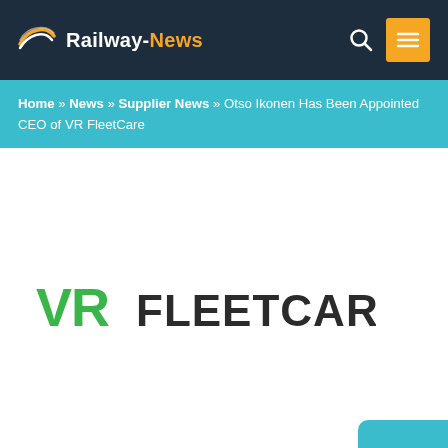Railway-News
Home » News » Supplier News » Otso Ikonen Has Been Appointed CEO of VR FleetCare
[Figure (logo): VR FleetCare logo — stylized 'VR' in green and 'FLEETCARE' in dark charcoal, bold wide-spaced sans-serif font]